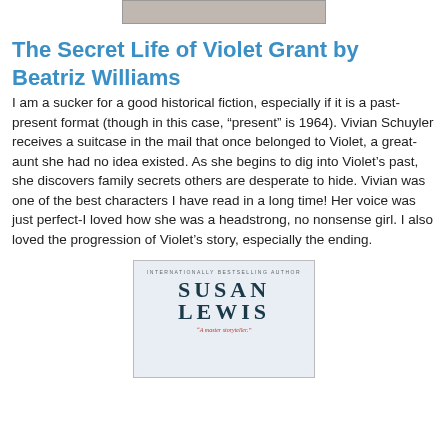[Figure (photo): Partial photo visible at top of page, appears to be cropped image]
The Secret Life of Violet Grant by Beatriz Williams
I am a sucker for a good historical fiction, especially if it is a past-present format (though in this case, “present” is 1964). Vivian Schuyler receives a suitcase in the mail that once belonged to Violet, a great-aunt she had no idea existed. As she begins to dig into Violet’s past, she discovers family secrets others are desperate to hide. Vivian was one of the best characters I have read in a long time! Her voice was just perfect-I loved how she was a headstrong, no nonsense girl. I also loved the progression of Violet’s story, especially the ending.
[Figure (photo): Book cover showing Susan Lewis, internationally bestselling author, with quote 'A master storyteller.']